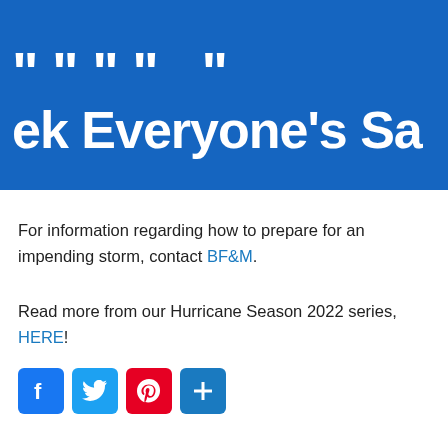[Figure (illustration): Blue banner with large white bold text partially visible: top line appears cut off showing quotes/marks, second line reads 'ek Everyone's Sa' — part of a larger headline about checking everyone's safety, on a blue background.]
For information regarding how to prepare for an impending storm, contact BF&M.
Read more from our Hurricane Season 2022 series, HERE!
[Figure (infographic): Row of four social media share buttons: Facebook (blue), Twitter (light blue), Pinterest (red), Share/plus (blue).]